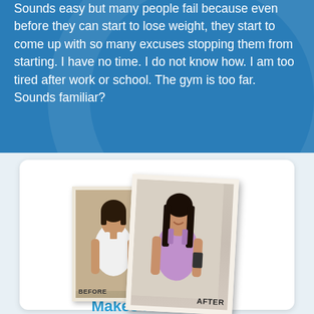Sounds easy but many people fail because even before they can start to lose weight, they start to come up with so many excuses stopping them from starting. I have no time. I do not know how. I am too tired after work or school. The gym is too far. Sounds familiar?
[Figure (photo): Before and after weight loss photos. Left photo labeled BEFORE shows a woman in a white tank top. Right photo labeled AFTER shows the same woman in a purple tank top, smiling and holding something, rotated slightly.]
Makes it more fun